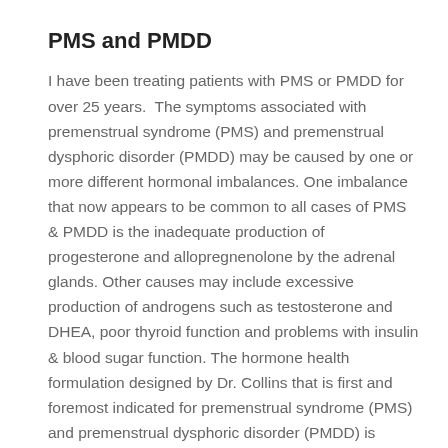PMS and PMDD
I have been treating patients with PMS or PMDD for over 25 years.  The symptoms associated with premenstrual syndrome (PMS) and premenstrual dysphoric disorder (PMDD) may be caused by one or more different hormonal imbalances. One imbalance that now appears to be common to all cases of PMS & PMDD is the inadequate production of progesterone and allopregnenolone by the adrenal glands. Other causes may include excessive production of androgens such as testosterone and DHEA, poor thyroid function and problems with insulin & blood sugar function. The hormone health formulation designed by Dr. Collins that is first and foremost indicated for premenstrual syndrome (PMS) and premenstrual dysphoric disorder (PMDD) is ProgestoMend™, a unique blend of phytoprogesterones, adaptogens and other herbs to